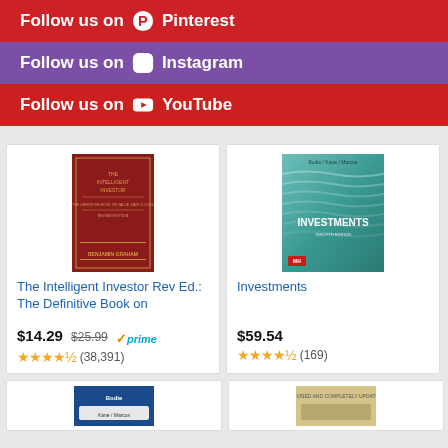Follow us on Pinterest
Follow us on Instagram
Follow us on YouTube
[Figure (photo): Book cover: The Intelligent Investor by Benjamin Graham]
The Intelligent Investor Rev Ed.: The Definitive Book on
$14.29 $25.99 prime (38,391)
[Figure (photo): Book cover: Investments by Bodie, Kane, Marcus]
Investments
$59.54 (169)
[Figure (photo): Partial book cover (blue, bottom row left)]
[Figure (photo): Partial book cover (beige/tan, bottom row right)]